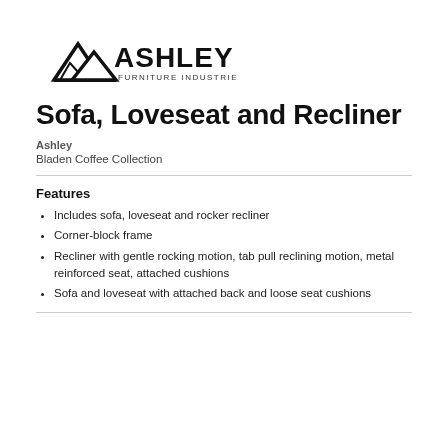[Figure (logo): Ashley Furniture Industries, LLC logo with mountain peak graphic and bold ASHLEY text]
Sofa, Loveseat and Recliner
Ashley
Bladen Coffee Collection
Features
Includes sofa, loveseat and rocker recliner
Corner-block frame
Recliner with gentle rocking motion, tab pull reclining motion, metal reinforced seat, attached cushions
Sofa and loveseat with attached back and loose seat cushions